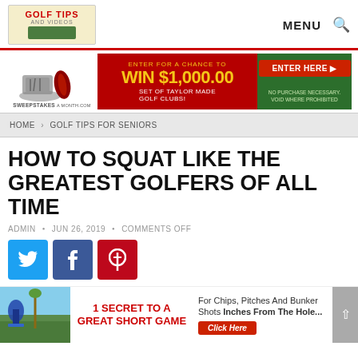GOLF TIPS AND VIDEOS — MENU
[Figure (infographic): Sweepstakes banner ad: Enter for a chance to WIN $1,000.00 SET OF TAYLOR MADE GOLF CLUBS! Enter Here. No purchase necessary, void where prohibited.]
HOME > GOLF TIPS FOR SENIORS
HOW TO SQUAT LIKE THE GREATEST GOLFERS OF ALL TIME
ADMIN • JUN 26, 2019 • COMMENTS OFF
[Figure (infographic): Social share buttons: Twitter (blue), Facebook (dark blue), Pinterest (red)]
[Figure (infographic): Bottom ad: 1 SECRET TO A GREAT SHORT GAME — For Chips, Pitches And Bunker Shots Inches From The Hole... Click Here]